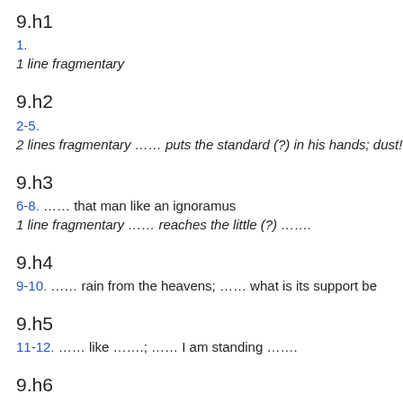9.h1
1.
1 line fragmentary
9.h2
2-5.
2 lines fragmentary …… puts the standard (?) in his hands; dust!
9.h3
6-8. …… that man like an ignoramus
1 line fragmentary …… reaches the little (?) …….
9.h4
9-10. …… rain from the heavens; …… what is its support be
9.h5
11-12. …… like …….; …… I am standing …….
9.h6
13-15. …… you spy on (?); …… just like a judge, …… lie do